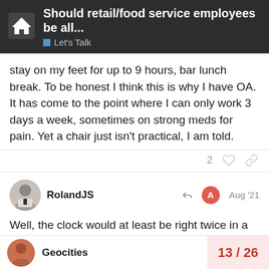Should retail/food service employees be all... | Let's Talk
stay on my feet for up to 9 hours, bar lunch break. To be honest I think this is why I have OA. It has come to the point where I can only work 3 days a week, sometimes on strong meds for pain. Yet a chair just isn't practical, I am told.
RolandJS  Aug '21
Well, the clock would at least be right twice in a 24-hour day.
Geocities  13 / 26